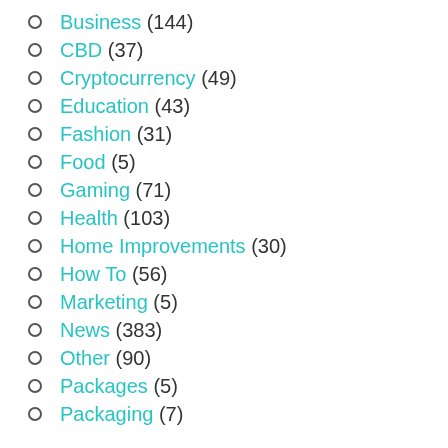Business (144)
CBD (37)
Cryptocurrency (49)
Education (43)
Fashion (31)
Food (5)
Gaming (71)
Health (103)
Home Improvements (30)
How To (56)
Marketing (5)
News (383)
Other (90)
Packages (5)
Packaging (7)